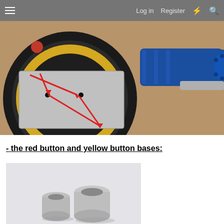Log in  Register
[Figure (photo): Close-up photo of a motorcycle or RC vehicle wheel/hub area with two red arrows pointing to small black buttons/screws on a metal plate. A blue anodized aluminum handlebar grip or similar component is visible on the right side.]
- the red button and yellow button bases:
[Figure (photo): Photo of two small silver/aluminum cylindrical button bases or caps on a white/light gray background.]